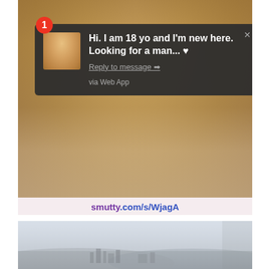[Figure (screenshot): Screenshot of a web browser notification popup overlay on a photo of a blonde woman. The notification reads: 'Hi. I am 18 yo and I'm new here. Looking for a man... ♥ Reply to message → via Web App'. Below the image is a URL label reading 'smutty.com/s/WjagA'. At top-left a red circular badge with number 1.]
[Figure (photo): Partial photo of a cityscape/landscape viewed from elevated position, hazy sky.]